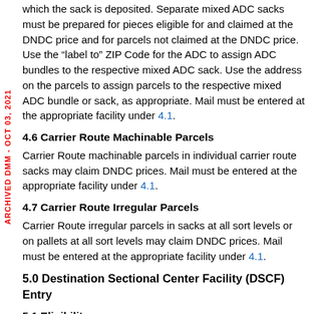which the sack is deposited. Separate mixed ADC sacks must be prepared for pieces eligible for and claimed at the DNDC price and for parcels not claimed at the DNDC price. Use the “label to” ZIP Code for the ADC to assign ADC bundles to the respective mixed ADC sack. Use the address on the parcels to assign parcels to the respective mixed ADC bundle or sack, as appropriate. Mail must be entered at the appropriate facility under 4.1.
4.6 Carrier Route Machinable Parcels
Carrier Route machinable parcels in individual carrier route sacks may claim DNDC prices. Mail must be entered at the appropriate facility under 4.1.
4.7 Carrier Route Irregular Parcels
Carrier Route irregular parcels in sacks at all sort levels or on pallets at all sort levels may claim DNDC prices. Mail must be entered at the appropriate facility under 4.1.
5.0 Destination Sectional Center Facility (DSCF) Entry
5.1 Eligibility
Bound Printed Matter pieces in a mailing meeting the standards in 3.0 are eligible for the DSCF price when they meet all of the following additional conditions: